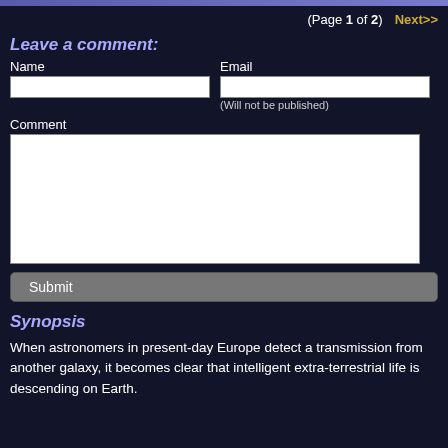(Page 1 of 2)  Next>>
Leave a comment:
Name
Email
(Will not be published)
Comment
Submit
Synopsis
When astronomers in present-day Europe detect a transmission from another galaxy, it becomes clear that intelligent extra-terrestrial life is descending on Earth.